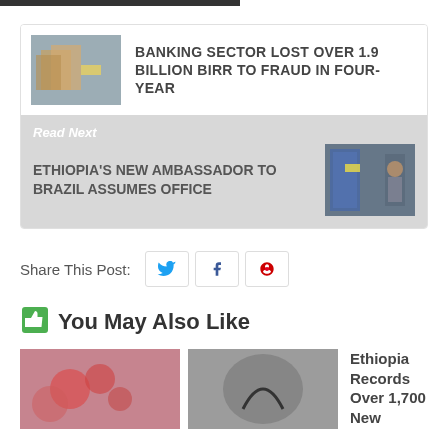BANKING SECTOR LOST OVER 1.9 BILLION BIRR TO FRAUD IN FOUR-YEAR
Read Next
ETHIOPIA'S NEW AMBASSADOR TO BRAZIL ASSUMES OFFICE
Share This Post:
You May Also Like
Ethiopia Records Over 1,700 New